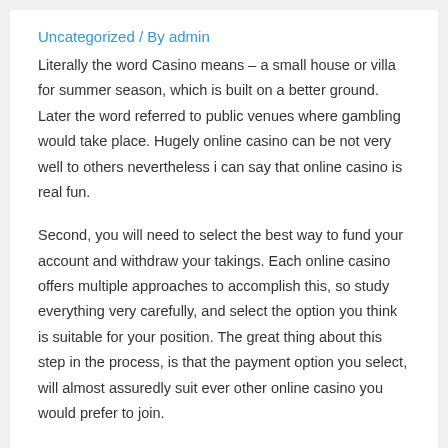Uncategorized / By admin
Literally the word Casino means – a small house or villa for summer season, which is built on a better ground. Later the word referred to public venues where gambling would take place. Hugely online casino can be not very well to others nevertheless i can say that online casino is real fun.
Second, you will need to select the best way to fund your account and withdraw your takings. Each online casino offers multiple approaches to accomplish this, so study everything very carefully, and select the option you think is suitable for your position. The great thing about this step in the process, is that the payment option you select, will almost assuredly suit ever other online casino you would prefer to join.
Baccarat. So as to play the bingo the player makes a bet before any cards are dealt out. Money is either put on the golfer winning